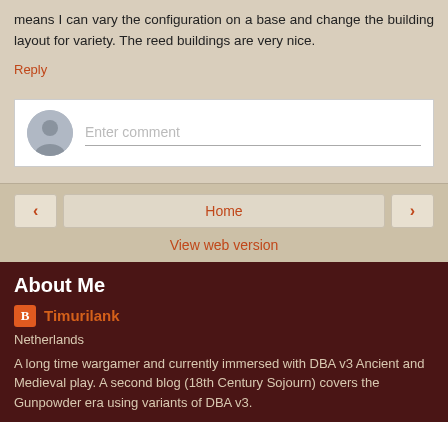means I can vary the configuration on a base and change the building layout for variety. The reed buildings are very nice.
Reply
[Figure (screenshot): Comment input box with a user avatar icon on the left and a text field showing 'Enter comment']
Home
View web version
About Me
Timurilank
Netherlands
A long time wargamer and currently immersed with DBA v3 Ancient and Medieval play. A second blog (18th Century Sojourn) covers the Gunpowder era using variants of DBA v3.